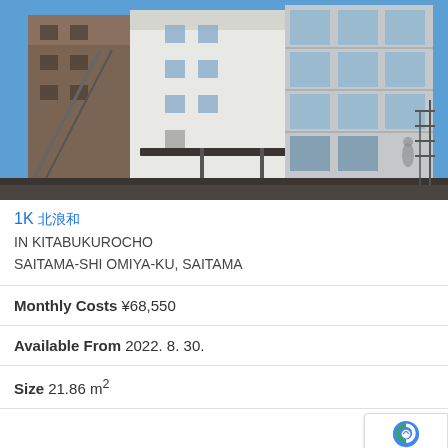[Figure (photo): Exterior photo of a multi-story building in Japan, showing a modern white and brown facade with balconies, glass windows, and a covered carport area under blue sky]
1K 北浦和 IN KITABUKUROCHO SAITAMA-SHI OMIYA-KU, SAITAMA
Monthly Costs ¥68,550
Available From 2022. 8. 30.
Size 21.86 m²
Deposit ¥0